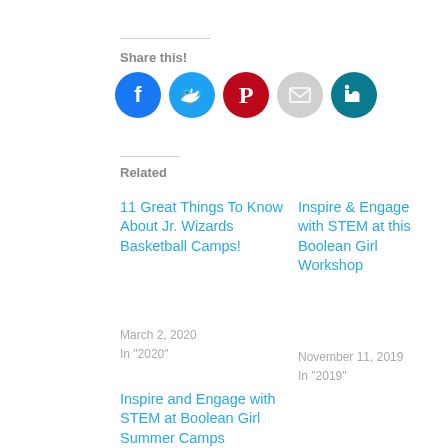Share this!
[Figure (infographic): Row of 5 social media share icon circles: Facebook (blue), Twitter (light blue), Pinterest (red), Email (gray), LinkedIn (teal)]
Related
11 Great Things To Know About Jr. Wizards Basketball Camps!
March 2, 2020
In "2020"
Inspire & Engage with STEM at this Boolean Girl Workshop
November 11, 2019
In "2019"
Inspire and Engage with STEM at Boolean Girl Summer Camps